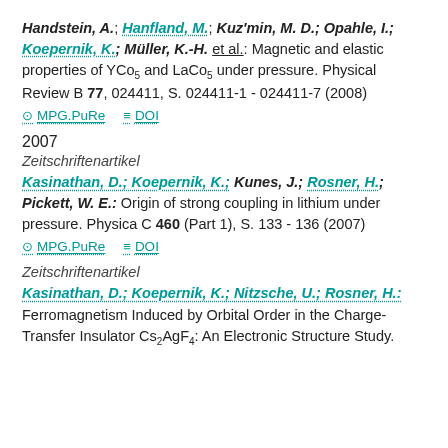Handstein, A.; Hanfland, M.; Kuz'min, M. D.; Opahle, I.; Koepernik, K.; Müller, K.-H. et al.: Magnetic and elastic properties of YCo5 and LaCo5 under pressure. Physical Review B 77, 024411, S. 024411-1 - 024411-7 (2008)
MPG.PuRe   DOI
2007
Zeitschriftenartikel
Kasinathan, D.; Koepernik, K.; Kunes, J.; Rosner, H.; Pickett, W. E.: Origin of strong coupling in lithium under pressure. Physica C 460 (Part 1), S. 133 - 136 (2007)
MPG.PuRe   DOI
Zeitschriftenartikel
Kasinathan, D.; Koepernik, K.; Nitzsche, U.; Rosner, H.: Ferromagnetism Induced by Orbital Order in the Charge-Transfer Insulator Cs2AgF4: An Electronic Structure Study.